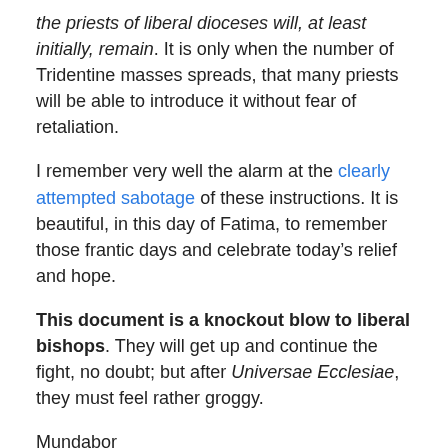the priests of liberal dioceses will, at least initially, remain. It is only when the number of Tridentine masses spreads, that many priests will be able to introduce it without fear of retaliation.
I remember very well the alarm at the clearly attempted sabotage of these instructions. It is beautiful, in this day of Fatima, to remember those frantic days and celebrate today’s relief and hope.
This document is a knockout blow to liberal bishops. They will get up and continue the fight, no doubt; but after Universae Ecclesiae, they must feel rather groggy.
Mundabor
Share this: